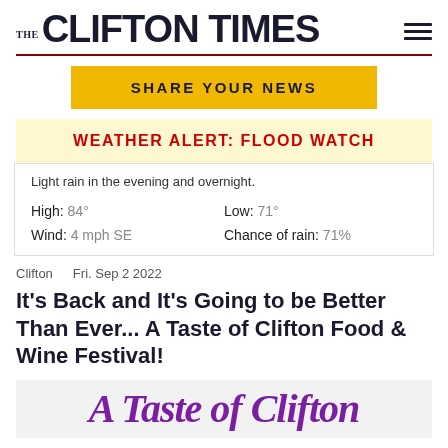THE CLIFTON TIMES
SHARE YOUR NEWS
WEATHER ALERT: FLOOD WATCH
Light rain in the evening and overnight.
High: 84°   Low: 71°   Wind: 4 mph SE   Chance of rain: 71%
Clifton   Fri. Sep 2 2022
It's Back and It's Going to be Better Than Ever... A Taste of Clifton Food & Wine Festival!
[Figure (illustration): A Taste of Clifton decorative text in purple italic serif font]